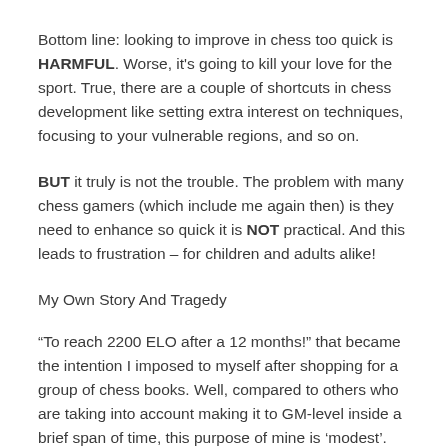Bottom line: looking to improve in chess too quick is HARMFUL. Worse, it's going to kill your love for the sport. True, there are a couple of shortcuts in chess development like setting extra interest on techniques, focusing to your vulnerable regions, and so on.
BUT it truly is not the trouble. The problem with many chess gamers (which include me again then) is they need to enhance so quick it is NOT practical. And this leads to frustration – for children and adults alike!
My Own Story And Tragedy
“To reach 2200 ELO after a 12 months!” that became the intention I imposed to myself after shopping for a group of chess books. Well, compared to others who are taking into account making it to GM-level inside a brief span of time, this purpose of mine is ‘modest’.